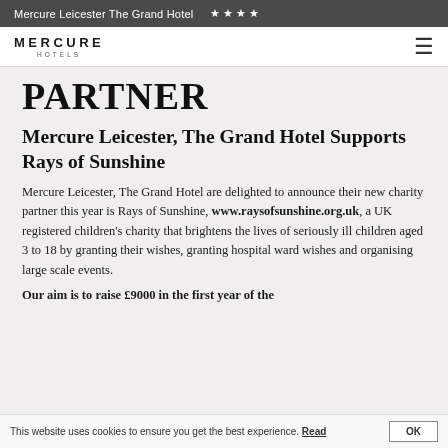Mercure Leicester The Grand Hotel ★★★★
[Figure (logo): Mercure Hotels logo with hamburger menu icon]
PARTNER
Mercure Leicester, The Grand Hotel Supports Rays of Sunshine
Mercure Leicester, The Grand Hotel are delighted to announce their new charity partner this year is Rays of Sunshine, www.raysofsunshine.org.uk, a UK registered children's charity that brightens the lives of seriously ill children aged 3 to 18 by granting their wishes, granting hospital ward wishes and organising large scale events.
Our aim is to raise £9000 in the first year of the
This website uses cookies to ensure you get the best experience. Read  OK